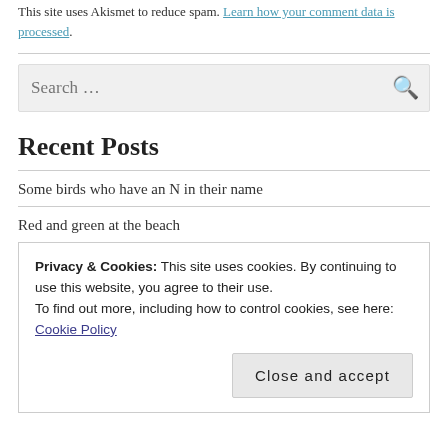This site uses Akismet to reduce spam. Learn how your comment data is processed.
Search …
Recent Posts
Some birds who have an N in their name
Red and green at the beach
Privacy & Cookies: This site uses cookies. By continuing to use this website, you agree to their use.
To find out more, including how to control cookies, see here: Cookie Policy
Close and accept